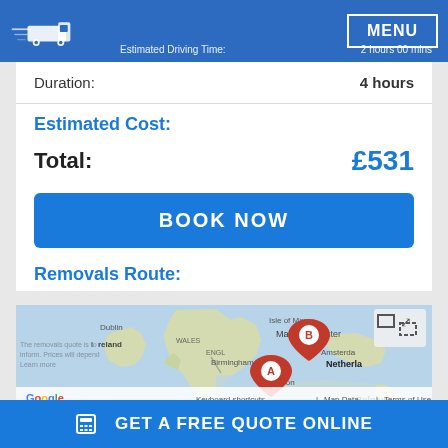Distance Removals - Estimated Driving Time: 2 hours 00 mins | MENU
Duration: 4 hours
Estimated Cost:
Total: £531
BOOK NOW
Removals Route:
[Figure (map): Google map of UK showing route between two locations marked A (London area) and B (Manchester area), with Ireland, Netherlands, and Belgium visible.]
GET A FREE QUOTE ONLINE